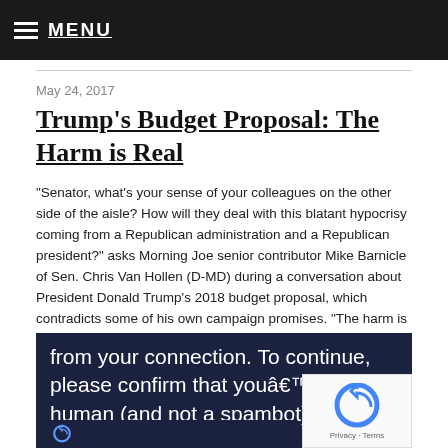MENU
May 24, 2017
Trump's Budget Proposal: The Harm is Real
“Senator, what’s your sense of your colleagues on the other side of the aisle? How will they deal with this blatant hypocrisy coming from a Republican administration and a Republican president?” asks Morning Joe senior contributor Mike Barnicle of Sen. Chris Van Hollen (D-MD) during a conversation about President Donald Trump’s 2018 budget proposal, which contradicts some of his own campaign promises. “The harm is real and the claim that it comes into balance is a scam,” said Van Hollen. Click to hear more of Van Hollen’s comments.
[Figure (screenshot): CAPTCHA verification overlay with dark navy background showing text: 'from your connection. To continue, please confirm that youâ€™re a human (and not a spambot).' with reCAPTCHA widget in bottom right corner.]